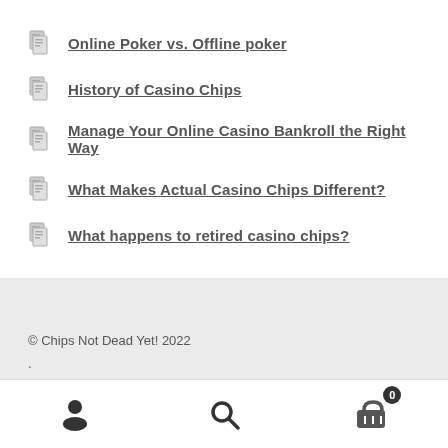Online Poker vs. Offline poker
History of Casino Chips
Manage Your Online Casino Bankroll the Right Way
What Makes Actual Casino Chips Different?
What happens to retired casino chips?
© Chips Not Dead Yet! 2022
.